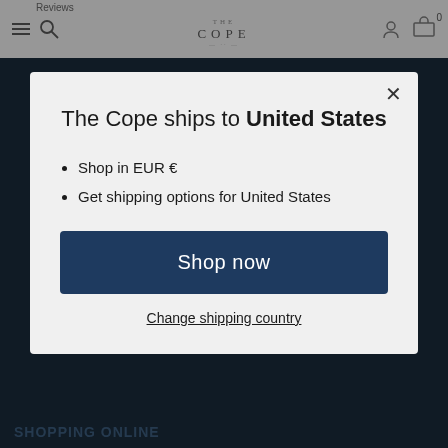THE COPE
[Figure (screenshot): Website header with hamburger menu, search icon, THE COPE logo, user icon, and shopping cart icon with 0 items]
The Cope ships to United States
Shop in EUR €
Get shipping options for United States
Shop now
Change shipping country